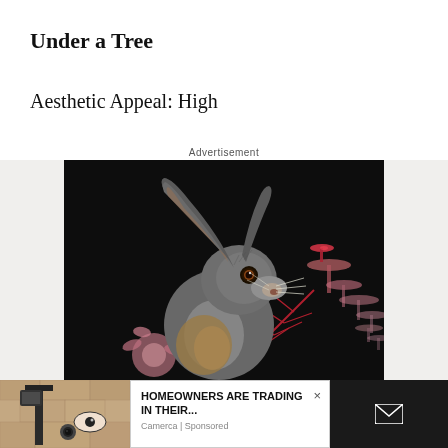Under a Tree
Aesthetic Appeal: High
Advertisement
[Figure (illustration): Detailed artistic illustration of a hare against a black background, surrounded by red/pink botanical elements including mushrooms and ferns. The hare is rendered in grey and brown tones with fine detail.]
[Figure (photo): Bottom-left: photo of a stone wall with a vintage surveillance camera and painted eye motif.]
HOMEOWNERS ARE TRADING IN THEIR...
Camerca | Sponsored
[Figure (other): Bottom-right dark panel with white email envelope icon.]